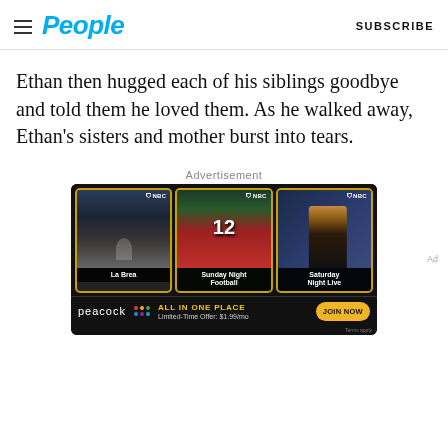People | SUBSCRIBE
Ethan then hugged each of his siblings goodbye and told them he loved them. As he walked away, Ethan's sisters and mother burst into tears.
Advertisement
[Figure (screenshot): NBC advertisement showing three TV show cards: La Brea, Sunday Night Football, and Saturday Night Live, with a Peacock streaming offer bar below showing 'ALL IN ONE PLACE - Limited-Time Offer: $1.99/mo' and a 'JOIN NOW' button.]